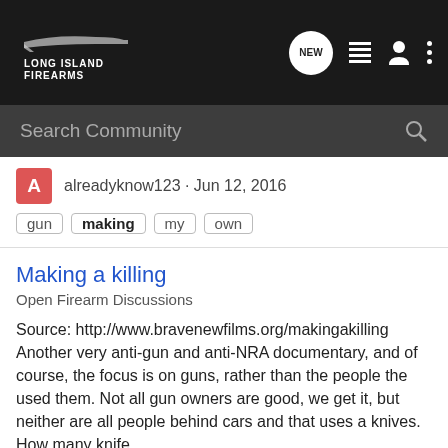Long Island Firearms
Search Community
alreadyknow123 · Jun 12, 2016
gun  making  my  own
Making a killing
Open Firearm Discussions
Source: http://www.bravenewfilms.org/makingakilling Another very anti-gun and anti-NRA documentary, and of course, the focus is on guns, rather than the people the used them. Not all gun owners are good, we get it, but neither are all people behind cars and that uses a knives. How many knife...
15   1K
lordvoldemortfan · May 26, 2016
killing   making